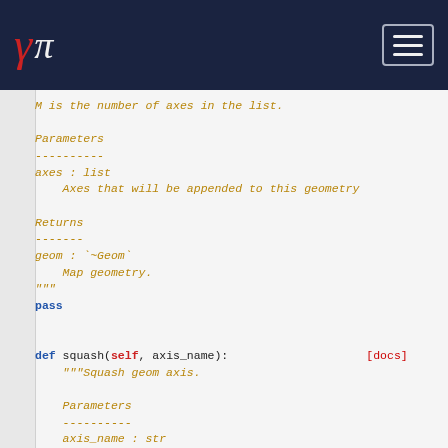[Figure (logo): Gamma Pi logo with red gamma symbol and white pi symbol on dark navy background, with hamburger menu button on right]
M is the number of axes in the list.

Parameters
----------
axes : list
    Axes that will be appended to this geometry

Returns
-------
geom : `~Geom`
    Map geometry.
"""
pass


def squash(self, axis_name):                    [docs]
    """Squash geom axis.

    Parameters
    ----------
    axis_name : str
        Axis to squash.

    Returns
    -------
    geom : `Geom`